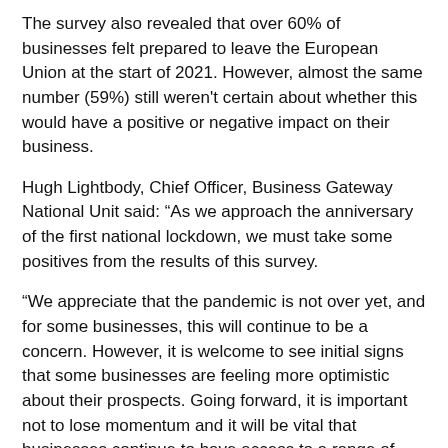The survey also revealed that over 60% of businesses felt prepared to leave the European Union at the start of 2021. However, almost the same number (59%) still weren't certain about whether this would have a positive or negative impact on their business.
Hugh Lightbody, Chief Officer, Business Gateway National Unit said: “As we approach the anniversary of the first national lockdown, we must take some positives from the results of this survey.
“We appreciate that the pandemic is not over yet, and for some businesses, this will continue to be a concern. However, it is welcome to see initial signs that some businesses are feeling more optimistic about their prospects. Going forward, it is important not to lose momentum and it will be vital that businesses continue to have access to a range of support, as they begin the journey back to a form of normality.”